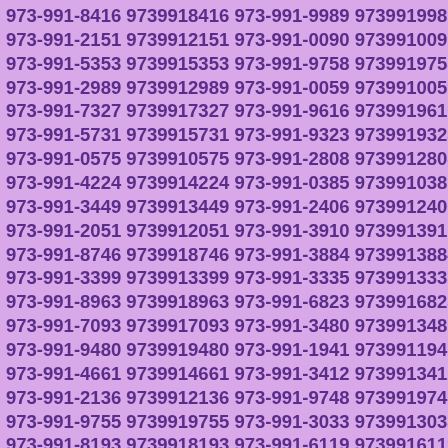973-991-8416 9739918416 973-991-9989 9739919989 973-991-2151 9739912151 973-991-0090 9739910090 973-991-5353 9739915353 973-991-9758 9739919758 973-991-2989 9739912989 973-991-0059 9739910059 973-991-7327 9739917327 973-991-9616 9739919616 973-991-5731 9739915731 973-991-9323 9739919323 973-991-0575 9739910575 973-991-2808 9739912808 973-991-4224 9739914224 973-991-0385 9739910385 973-991-3449 9739913449 973-991-2406 9739912406 973-991-2051 9739912051 973-991-3910 9739913910 973-991-8746 9739918746 973-991-3884 9739913884 973-991-3399 9739913399 973-991-3335 9739913335 973-991-8963 9739918963 973-991-6823 9739916823 973-991-7093 9739917093 973-991-3480 9739913480 973-991-9480 9739919480 973-991-1941 9739911941 973-991-4661 9739914661 973-991-3412 9739913412 973-991-2136 9739912136 973-991-9748 9739919748 973-991-9755 9739919755 973-991-3033 9739913033 973-991-8193 9739918193 973-991-6119 9739916119 973-991-6962 9739916962 973-991-2409 9739912409 973-991-6846 9739916846 973-991-9728 9739919728